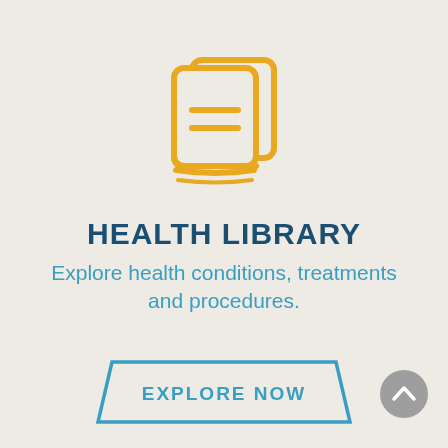[Figure (illustration): Orange/gold book icon with two lines on cover, stacked books style]
HEALTH LIBRARY
Explore health conditions, treatments and procedures.
[Figure (other): EXPLORE NOW button with parallelogram/trapezoid blue border shape]
[Figure (other): Grey circular scroll-to-top arrow button in bottom right corner]